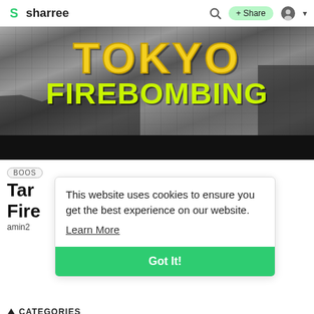sharree   🔍   + Share   👤
[Figure (photo): Black and white aerial photograph of Tokyo destruction with bold yellow/green text overlay reading TOKYO FIREBOMBING on a dark banner, followed by a black bar.]
BOOS
Tar
Fire
amin2
This website uses cookies to ensure you get the best experience on our website.
Learn More
Got It!
▲ CATEGORIES